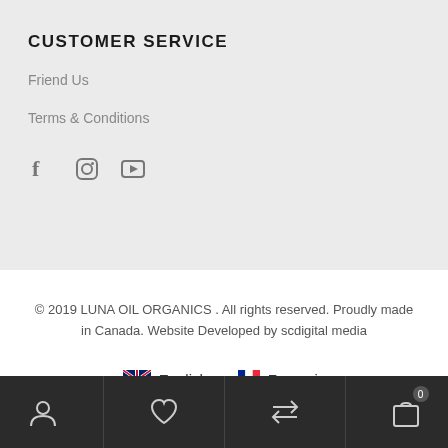CUSTOMER SERVICE
Friend Us
Terms & Conditions
[Figure (other): Social media icons: Facebook, Instagram, YouTube]
© 2019 LUNA OIL ORGANICS . All rights reserved. Proudly made in Canada. Website Developed by scdigital media
[Figure (other): Language selector with UK flag for English and French flag for Français]
[Figure (other): Bottom navigation bar with person/account icon, heart/wishlist icon, transfer/compare icon, and shopping bag icon with badge showing 0]